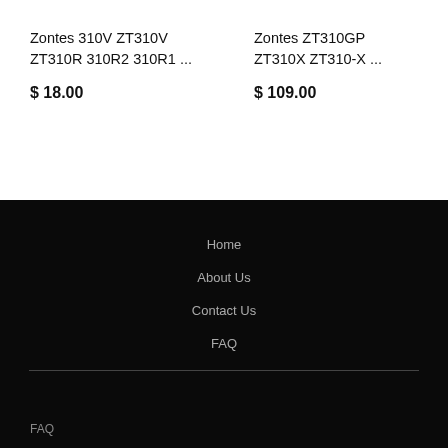Zontes 310V ZT310V ZT310R 310R2 310R1 ...
$ 18.00
Zontes ZT310GP ZT310X ZT310-X ...
$ 109.00
Home
About Us
Contact Us
FAQ
FAQ